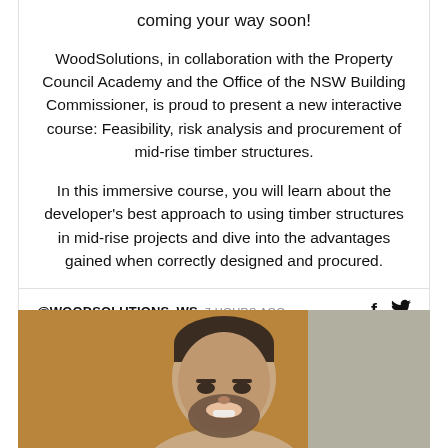coming your way soon!
WoodSolutions, in collaboration with the Property Council Academy and the Office of the NSW Building Commissioner, is proud to present a new interactive course: Feasibility, risk analysis and procurement of mid-rise timber structures.
In this immersive course, you will learn about the developer's best approach to using timber structures in mid-rise projects and dive into the advantages gained when correctly designed and procured.
@WOODSOLUTIONS_WS 7 HOURS AGO
[Figure (photo): A smiling bearded man looking upward, photographed in a warm indoor setting with blurred background.]